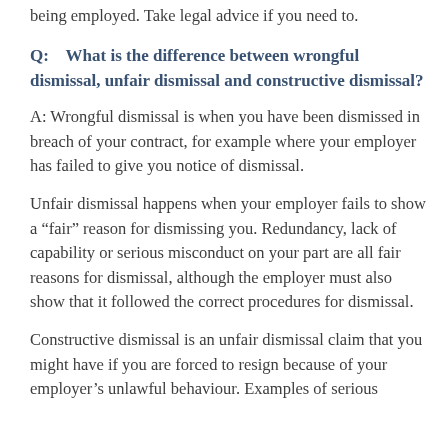being employed. Take legal advice if you need to.
Q:    What is the difference between wrongful dismissal, unfair dismissal and constructive dismissal?
A: Wrongful dismissal is when you have been dismissed in breach of your contract, for example where your employer has failed to give you notice of dismissal.
Unfair dismissal happens when your employer fails to show a “fair” reason for dismissing you. Redundancy, lack of capability or serious misconduct on your part are all fair reasons for dismissal, although the employer must also show that it followed the correct procedures for dismissal.
Constructive dismissal is an unfair dismissal claim that you might have if you are forced to resign because of your employer’s unlawful behaviour. Examples of serious